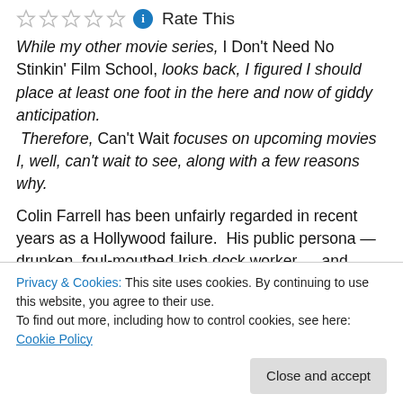Rate This
While my other movie series, I Don't Need No Stinkin' Film School, looks back, I figured I should place at least one foot in the here and now of giddy anticipation. Therefore, Can't Wait focuses on upcoming movies I, well, can't wait to see, along with a few reasons why.
Colin Farrell has been unfairly regarded in recent years as a Hollywood failure.  His public persona — drunken, foul-mouthed Irish dock worker — and stream of big budget flops (this summer's Total Recall, which I haven't seen yet
Privacy & Cookies: This site uses cookies. By continuing to use this website, you agree to their use.
To find out more, including how to control cookies, see here: Cookie Policy
sometimes great, actor.  When paired with solid material